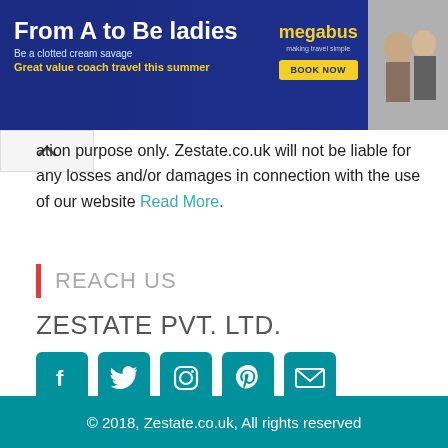[Figure (illustration): Megabus advertisement banner: 'From A to Be ladies' with yellow tagline 'Great value coach travel this summer' and BOOK NOW button, dark blue background with photo of two women]
ation purpose only. Zestate.co.uk will not be liable for any losses and/or damages in connection with the use of our website Read More.
REACH US
ZESTATE PVT. LTD.
[Figure (illustration): Social media icons: Facebook, Twitter, Instagram, Pinterest, Email — teal/green colored square icons]
© 2018, Zestate.co.uk, All rights reserved